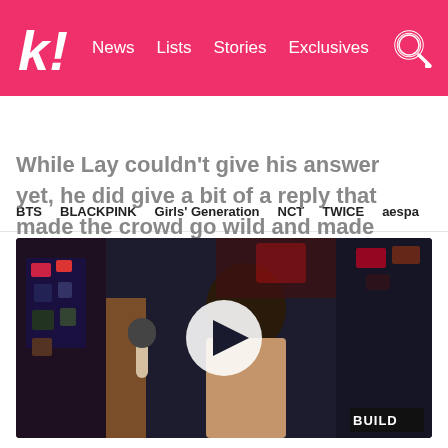k! | News  Lists  Stories  Exclusives
BTS  BLACKPINK  Girls' Generation  NCT  TWICE  aespa
While Lay couldn't give his answer yet, he did give a bit of a reply that made the crowd go wild and made everyone's heart melt.
[Figure (photo): Video thumbnail showing a woman being interviewed with a microphone, dark background with stickers visible, white circular play button overlay, BUILD logo watermark in bottom right corner]